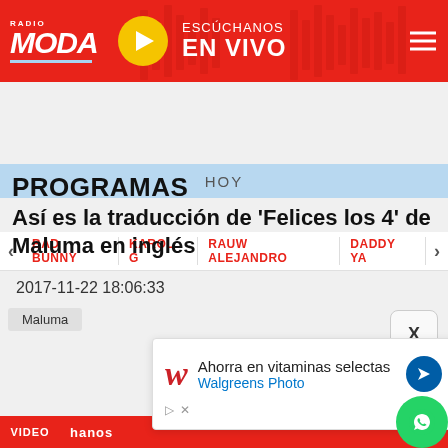RADIO MODA — ESCÚCHANOS EN VIVO
HOY
BAD BUNNY | KAROL G | RAUW ALEJANDRO | DADDY YA
PROGRAMAS
Así es la traducción de 'Felices los 4' de Maluma en inglés
2017-11-22 18:06:33
Maluma
[Figure (screenshot): Walgreens advertisement overlay: 'Ahorra en vitaminas selectas / Walgreens Photo' with navigation arrow]
VIDEO